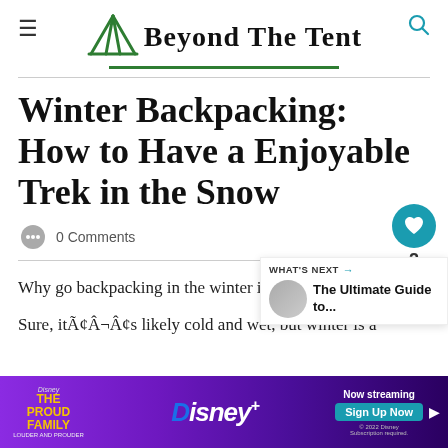Beyond The Tent
Winter Backpacking: How to Have a Enjoyable Trek in the Snow
0 Comments
Why go backpacking in the winter in the fi...
Sure, itÃ¢Ã¢s likely cold and wet, but winter is a sp...